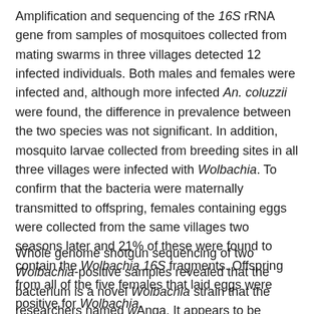Amplification and sequencing of the 16S rRNA gene from samples of mosquitoes collected from mating swarms in three villages detected 12 infected individuals. Both males and females were infected and, although more infected An. coluzzii were found, the difference in prevalence between the two species was not significant. In addition, mosquito larvae collected from breeding sites in all three villages were infected with Wolbachia. To confirm that the bacteria were maternally transmitted to offspring, females containing eggs were collected from the same villages two seasons later and 21% of these were found to contain the Wolbachia 16S fragments. Offspring from all of the five females that laid eggs were positive for Wolbachia.
Whole genome shotgun sequencing of two Wolbachia-positive samples revealed that the bacterium is a novel Wolbachia strain that the researchers named wAnga. It appears to be